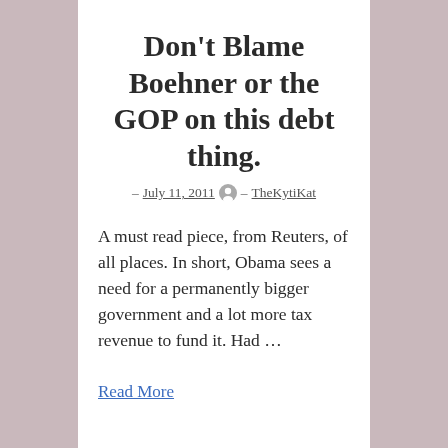Don't Blame Boehner or the GOP on this debt thing.
– July 11, 2011 – TheKytiKat
A must read piece, from Reuters, of all places. In short, Obama sees a need for a permanently bigger government and a lot more tax revenue to fund it. Had …
Read More